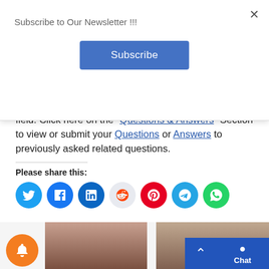Subscribe to Our Newsletter !!!
Subscribe
Created a thread for all your related questions to get answers from other members and professionals in the field. Click here on the “Questions & Answers” Section to view or submit your Questions or Answers to previously asked related questions.
Please share this:
[Figure (infographic): Social media share buttons: Twitter, Facebook, LinkedIn, Reddit, Pinterest, Telegram, WhatsApp circular icons]
[Figure (infographic): Bottom bar with notification bell icon (orange), two thumbnail images, scroll-up arrow button, and Chat button (blue)]